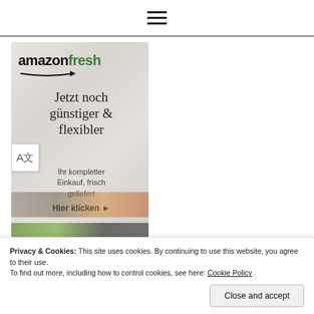≡ (hamburger menu icon)
[Figure (advertisement): Amazon Fresh advertisement banner in German. Shows 'amazonfresh' logo (amazon in black, fresh in green), with text 'Jetzt noch günstiger & flexibler', subtext 'Ihr kompletter Einkauf, frisch geliefert', and CTA 'Hier klicken ▸'. Marble background with food items at bottom.]
Privacy & Cookies: This site uses cookies. By continuing to use this website, you agree to their use.
To find out more, including how to control cookies, see here: Cookie Policy
Close and accept